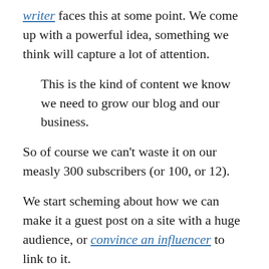writer faces this at some point. We come up with a powerful idea, something we think will capture a lot of attention.
This is the kind of content we know we need to grow our blog and our business.
So of course we can’t waste it on our measly 300 subscribers (or 100, or 12).
We start scheming about how we can make it a guest post on a site with a huge audience, or convince an influencer to link to it.
We scribble our great idea on a Post-it so we